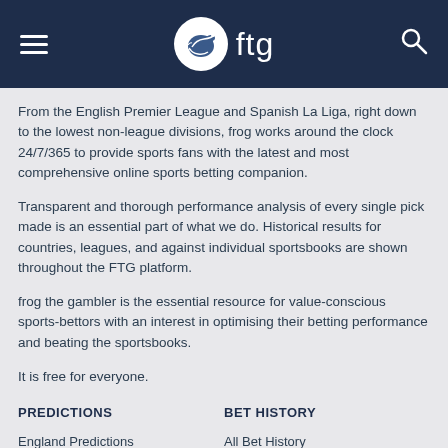ftg
From the English Premier League and Spanish La Liga, right down to the lowest non-league divisions, frog works around the clock 24/7/365 to provide sports fans with the latest and most comprehensive online sports betting companion.
Transparent and thorough performance analysis of every single pick made is an essential part of what we do. Historical results for countries, leagues, and against individual sportsbooks are shown throughout the FTG platform.
frog the gambler is the essential resource for value-conscious sports-bettors with an interest in optimising their betting performance and beating the sportsbooks.
It is free for everyone.
PREDICTIONS
BET HISTORY
England Predictions
All Bet History
France Predictions
England Bet History
Germany Predictions
Sportsbook Bet History